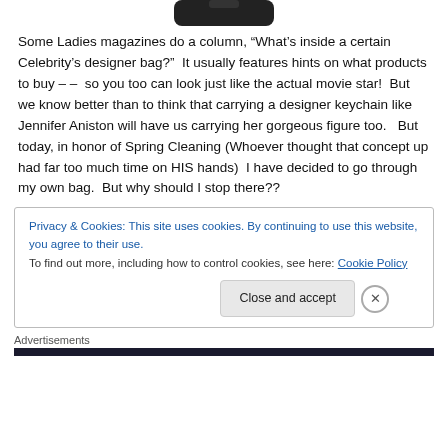[Figure (photo): Partial image of a dark designer bag at the top of the page]
Some Ladies magazines do a column, “What’s inside a certain Celebrity’s designer bag?”  It usually features hints on what products to buy – –  so you too can look just like the actual movie star!  But we know better than to think that carrying a designer keychain like Jennifer Aniston will have us carrying her gorgeous figure too.   But today, in honor of Spring Cleaning (Whoever thought that concept up had far too much time on HIS hands)  I have decided to go through my own bag.  But why should I stop there??
Privacy & Cookies: This site uses cookies. By continuing to use this website, you agree to their use.
To find out more, including how to control cookies, see here: Cookie Policy
Close and accept
Advertisements